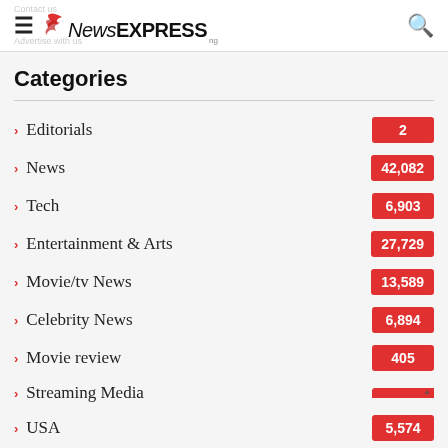NewsEXPRESS
Categories
Editorials 2
News 42,082
Tech 6,903
Entertainment & Arts 27,729
Movie/tv News 13,589
Celebrity News 6,894
Movie review 405
Streaming Media
USA 5,574
Washington 221